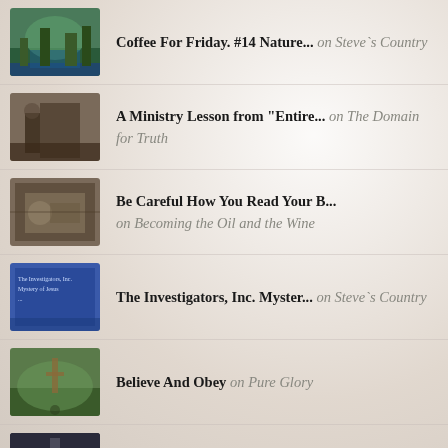Coffee For Friday. #14 Nature... on Steve`s Country
A Ministry Lesson from "Entire... on The Domain for Truth
Be Careful How You Read Your B... on Becoming the Oil and the Wine
The Investigators, Inc. Myster... on Steve`s Country
Believe And Obey on Pure Glory
Are You Expecting a Different... on Real Christian Women
The Revelation Of Jesus Christ... on God's GROUP